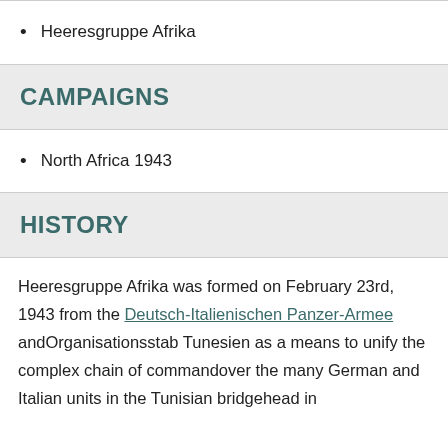Heeresgruppe Afrika
CAMPAIGNS
North Africa 1943
HISTORY
Heeresgruppe Afrika was formed on February 23rd, 1943 from the Deutsch-Italienischen Panzer-Armee andOrganisationsstab Tunesien as a means to unify the complex chain of commandover the many German and Italian units in the Tunisian bridgehead in